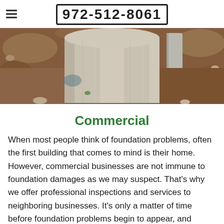972-512-8061
[Figure (photo): Excavated large concrete pipe or culvert in a trench with dirt and rocks around it, outdoors construction/foundation repair scene.]
Commercial
When most people think of foundation problems, often the first building that comes to mind is their home. However, commercial businesses are not immune to foundation damages as we may suspect. That's why we offer professional inspections and services to neighboring businesses. It's only a matter of time before foundation problems begin to appear, and foundation